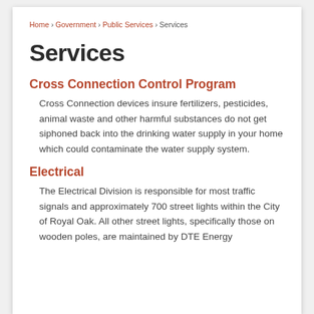Home › Government › Public Services › Services
Services
Cross Connection Control Program
Cross Connection devices insure fertilizers, pesticides, animal waste and other harmful substances do not get siphoned back into the drinking water supply in your home which could contaminate the water supply system.
Electrical
The Electrical Division is responsible for most traffic signals and approximately 700 street lights within the City of Royal Oak. All other street lights, specifically those on wooden poles, are maintained by DTE Energy.